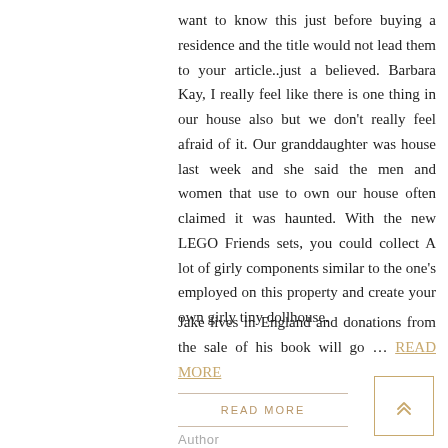want to know this just before buying a residence and the title would not lead them to your article..just a believed. Barbara Kay, I really feel like there is one thing in our house also but we don't really feel afraid of it. Our granddaughter was house last week and she said the men and women that use to own our house often claimed it was haunted. With the new LEGO Friends sets, you could collect A lot of girly components similar to the one's employed on this property and create your own girly tiny dollhouse.
Jake lives in England and donations from the sale of his book will go … READ MORE
READ MORE
Author